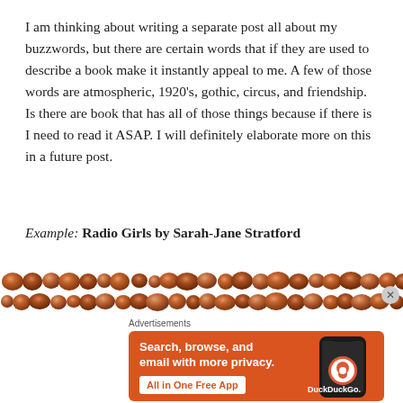I am thinking about writing a separate post all about my buzzwords, but there are certain words that if they are used to describe a book make it instantly appeal to me. A few of those words are atmospheric, 1920's, gothic, circus, and friendship. Is there are book that has all of those things because if there is I need to read it ASAP. I will definitely elaborate more on this in a future post.
Example: Radio Girls by Sarah-Jane Stratford
[Figure (illustration): Decorative band of copper/bronze colored oval and circular shapes arranged in two rows across the page width]
Advertisements
[Figure (screenshot): DuckDuckGo advertisement with orange background. Text reads: Search, browse, and email with more privacy. All in One Free App. Shows a smartphone with DuckDuckGo logo.]